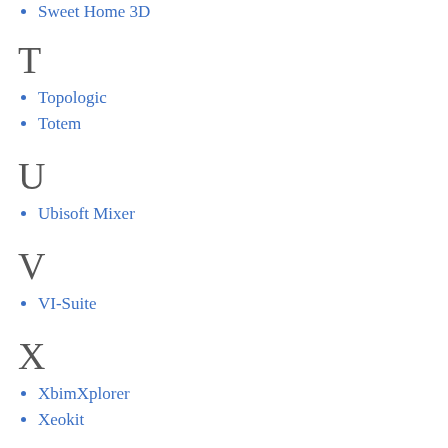Sweet Home 3D
T
Topologic
Totem
U
Ubisoft Mixer
V
VI-Suite
X
XbimXplorer
Xeokit